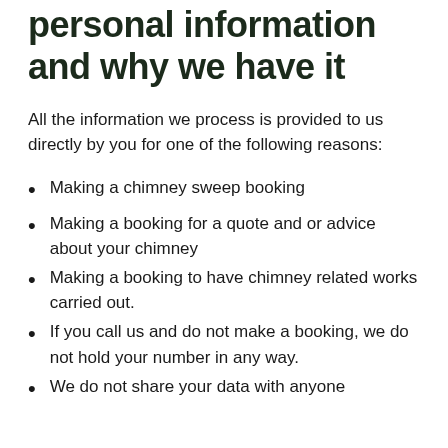personal information and why we have it
All the information we process is provided to us directly by you for one of the following reasons:
Making a chimney sweep booking
Making a booking for a quote and or advice about your chimney
Making a booking to have chimney related works carried out.
If you call us and do not make a booking, we do not hold your number in any way.
We do not share your data with anyone